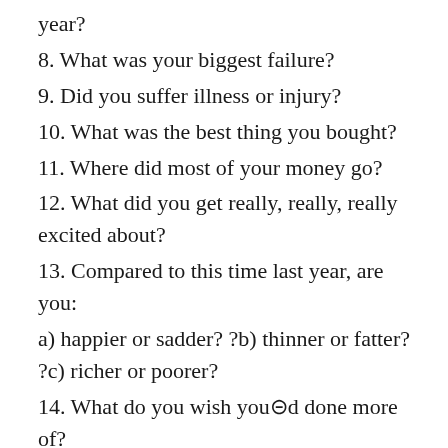year?
8. What was your biggest failure?
9. Did you suffer illness or injury?
10. What was the best thing you bought?
11. Where did most of your money go?
12. What did you get really, really, really excited about?
13. Compared to this time last year, are you:
a) happier or sadder? ?b) thinner or fatter? ?c) richer or poorer?
14. What do you wish you×d done more of?
15. What do you wish you×d done less of?
16. What was the best book you read?